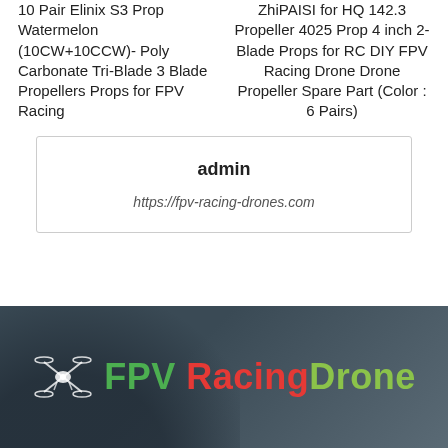10 Pair Elinix S3 Prop Watermelon (10CW+10CCW)- Poly Carbonate Tri-Blade 3 Blade Propellers Props for FPV Racing
ZhiPAISI for HQ 142.3 Propeller 4025 Prop 4 inch 2-Blade Props for RC DIY FPV Racing Drone Drone Propeller Spare Part (Color : 6 Pairs)
admin
https://fpv-racing-drones.com
[Figure (logo): FPV Racing Drone logo with drone icon on a dark background. Logo text shows 'FPV' in green, 'Racing' in red, 'Drone' in light green with a white drone icon.]